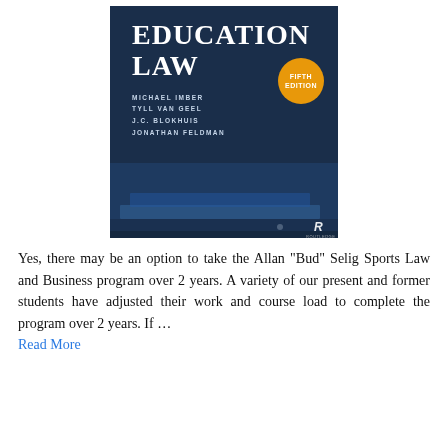[Figure (illustration): Book cover of 'Education Law' Fifth Edition, dark navy background with large white serif title text, authors Michael Imber, Tyll Van Geel, J.C. Blokhuis, Jonathan Feldman, orange circular badge reading Fifth Edition, architectural column steps in lower portion, Routledge logo bottom right.]
Yes, there may be an option to take the Allan "Bud" Selig Sports Law and Business program over 2 years. A variety of our present and former students have adjusted their work and course load to complete the program over 2 years. If …
Read More